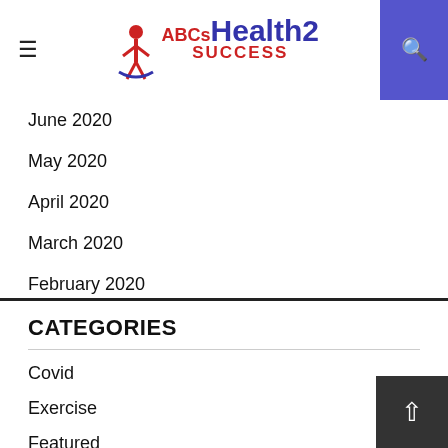ABCs Health2 Success
June 2020
May 2020
April 2020
March 2020
February 2020
January 2020
CATEGORIES
Covid
Exercise
Featured
Fitness